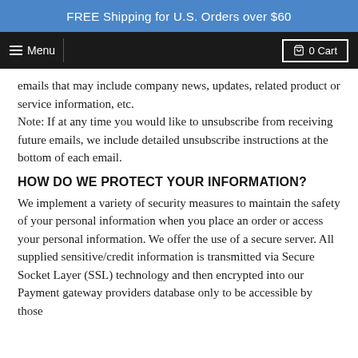FREE Shipping for U.S. Orders over $60
≡ Menu  |  🛒 0 Cart
emails that may include company news, updates, related product or service information, etc.
Note: If at any time you would like to unsubscribe from receiving future emails, we include detailed unsubscribe instructions at the bottom of each email.
HOW DO WE PROTECT YOUR INFORMATION?
We implement a variety of security measures to maintain the safety of your personal information when you place an order or access your personal information. We offer the use of a secure server. All supplied sensitive/credit information is transmitted via Secure Socket Layer (SSL) technology and then encrypted into our Payment gateway providers database only to be accessible by those